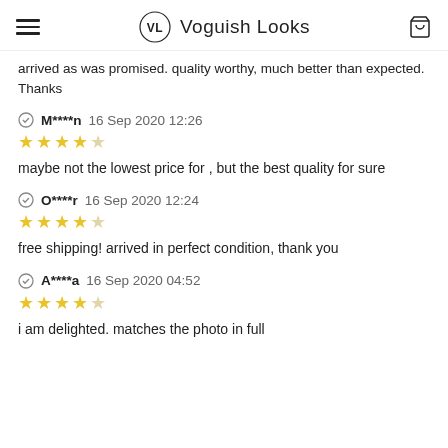Voguish Looks
arrived as was promised. quality worthy, much better than expected. Thanks
M****n 16 Sep 2020 12:26 — 4 stars — maybe not the lowest price for , but the best quality for sure
O****r 16 Sep 2020 12:24 — 4 stars — free shipping! arrived in perfect condition, thank you
A****a 16 Sep 2020 04:52 — 4 stars — i am delighted. matches the photo in full